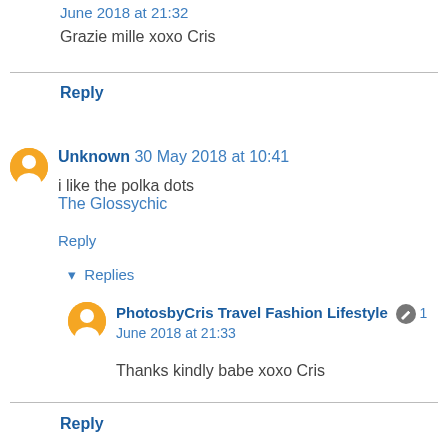June 2018 at 21:32
Grazie mille xoxo Cris
Reply
Unknown  30 May 2018 at 10:41
i like the polka dots
The Glossychic
Reply
▾ Replies
PhotosbyCris Travel Fashion Lifestyle  1 June 2018 at 21:33
Thanks kindly babe xoxo Cris
Reply